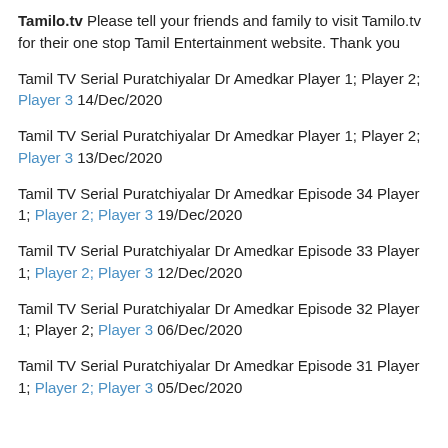Tamilo.tv Please tell your friends and family to visit Tamilo.tv for their one stop Tamil Entertainment website. Thank you
Tamil TV Serial Puratchiyalar Dr Amedkar Player 1; Player 2; Player 3 14/Dec/2020
Tamil TV Serial Puratchiyalar Dr Amedkar Player 1; Player 2; Player 3 13/Dec/2020
Tamil TV Serial Puratchiyalar Dr Amedkar Episode 34 Player 1; Player 2; Player 3 19/Dec/2020
Tamil TV Serial Puratchiyalar Dr Amedkar Episode 33 Player 1; Player 2; Player 3 12/Dec/2020
Tamil TV Serial Puratchiyalar Dr Amedkar Episode 32 Player 1; Player 2; Player 3 06/Dec/2020
Tamil TV Serial Puratchiyalar Dr Amedkar Episode 31 Player 1; Player 2; Player 3 05/Dec/2020